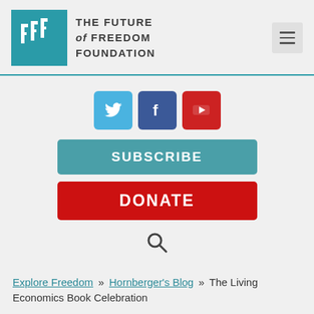[Figure (logo): The Future of Freedom Foundation logo with teal square and stylized 'F' letters, menu hamburger button top right]
[Figure (infographic): Social media icons: Twitter (blue bird), Facebook (blue F), YouTube (red play button), followed by teal SUBSCRIBE button, red DONATE button, and search magnifying glass icon]
Explore Freedom >> Hornberger's Blog >> The Living Economics Book Celebration